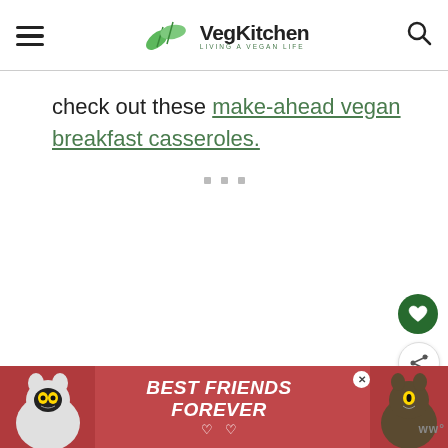VegKitchen — LIVING A VEGAN LIFE
check out these make-ahead vegan breakfast casseroles.
[Figure (screenshot): Advertisement banner at the bottom showing two cats and text 'BEST FRIENDS FOREVER' on a red background.]